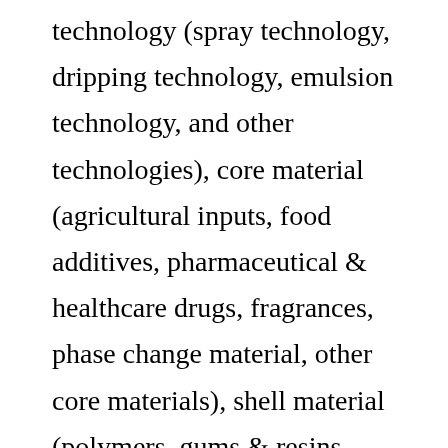technology (spray technology, dripping technology, emulsion technology, and other technologies), core material (agricultural inputs, food additives, pharmaceutical & healthcare drugs, fragrances, phase change material, other core materials), shell material (polymers, gums & resins, lipids, carbohydrates, proteins) across seven major regions of the world (North America, Latin America, Europe, East Asia, South Asia, Oceania, and MEA).